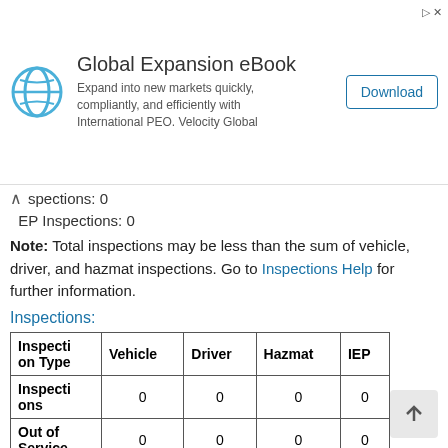[Figure (other): Advertisement banner for Global Expansion eBook by Velocity Global with download button]
spections: 0
EP Inspections: 0
Note: Total inspections may be less than the sum of vehicle, driver, and hazmat inspections. Go to Inspections Help for further information.
Inspections:
| Inspection Type | Vehicle | Driver | Hazmat | IEP |
| --- | --- | --- | --- | --- |
| Inspections | 0 | 0 | 0 | 0 |
| Out of Service | 0 | 0 | 0 | 0 |
| Out of Service % | 0% | 0% | 0% | 0% |
| Nat'l Average |  |  |  |  |